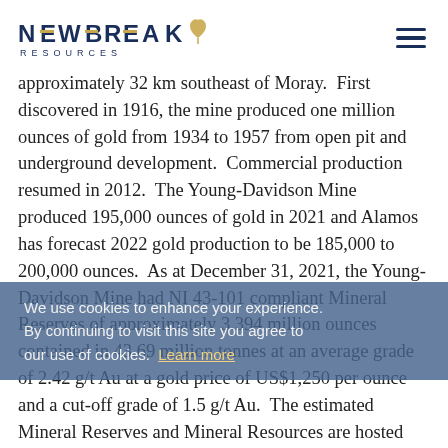NEWBREAK RESOURCES
approximately 32 km southeast of Moray.  First discovered in 1916, the mine produced one million ounces of gold from 1934 to 1957 from open pit and underground development.  Commercial production resumed in 2012.  The Young-Davidson Mine produced 195,000 ounces of gold in 2021 and Alamos has forecast 2022 gold production to be 185,000 to 200,000 ounces.  As at December 31, 2021, the Young-Davidson Mine had NI 43-101 compliant Mineral Reserves of approximately 3.394 million ounces contained in 43.69 million tonnes at an average grade of 2.42 g/t Au at a gold price of US$1,250 per ounce and a cut-off grade of 1.5 g/t Au.  The estimated Mineral Reserves and Mineral Resources are hosted